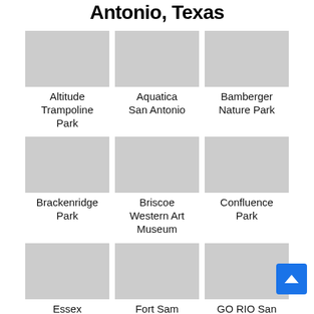Antonio, Texas
[Figure (photo): Altitude Trampoline Park indoor photo]
Altitude Trampoline Park
[Figure (photo): Aquatica San Antonio water slides photo]
Aquatica San Antonio
[Figure (photo): Bamberger Nature Park sign photo]
Bamberger Nature Park
[Figure (photo): Brackenridge Park river and trees photo]
Brackenridge Park
[Figure (photo): Briscoe Western Art Museum exterior photo]
Briscoe Western Art Museum
[Figure (photo): Confluence Park architectural structures photo]
Confluence Park
[Figure (photo): Essex Modern City colorful murals photo]
Essex Modern City
[Figure (photo): Fort Sam Houston Quadrangle green landscape photo]
Fort Sam Houston Quadrangle
[Figure (photo): GO RIO San Antonio River boat tour photo]
GO RIO San Antonio River